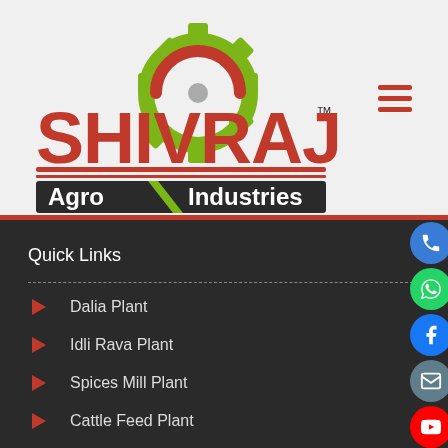[Figure (logo): Shivraj Agro Industries logo with green gear, red arch, bold red SHIVRAJ text, and green/red 'Agro Industries' banner. TM mark visible.]
Quick Links
Dalia Plant
Idli Rava Plant
Spices Mill Plant
Cattle Feed Plant
Poultry Food Plant